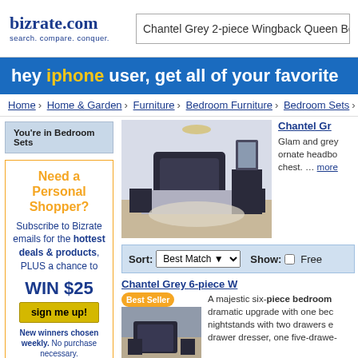[Figure (screenshot): bizrate.com logo with tagline 'search. compare. conquer.']
Chantel Grey 2-piece Wingback Queen Bedr
hey iphone user, get all of your favorite
Home › Home & Garden › Furniture › Bedroom Furniture › Bedroom Sets › Ch
You're in Bedroom Sets
[Figure (photo): Chantel Grey bedroom set product photo showing dark grey upholstered bed with ornate headboard, dresser, mirror, and nightstands in a styled room]
Chantel Gr
Glam and grey ornate headbo chest. ... more
Need a Personal Shopper?
Subscribe to Bizrate emails for the hottest deals & products, PLUS a chance to WIN $25 sign me up! New winners chosen weekly. No purchase necessary.
Sort: Best Match   Show: ☐ Free
Chantel Grey 6-piece W
A majestic six-piece bedroom dramatic upgrade with one bec nightstands with two drawers e drawer dresser, one five-drawe-
[Figure (photo): Chantel Grey 6-piece bedroom set product thumbnail photo]